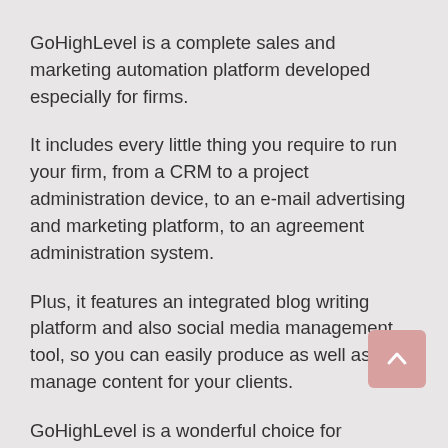GoHighLevel is a complete sales and marketing automation platform developed especially for firms.
It includes every little thing you require to run your firm, from a CRM to a project administration device, to an e-mail advertising and marketing platform, to an agreement administration system.
Plus, it features an integrated blog writing platform and also social media management tool, so you can easily produce as well as manage content for your clients.
GoHighLevel is a wonderful choice for